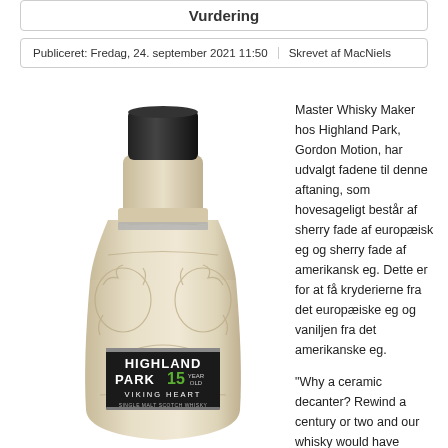Vurdering
Publiceret: Fredag, 24. september 2021 11:50 | Skrevet af MacNiels
[Figure (photo): Highland Park 15 Year Old Viking Heart Single Malt Scotch Whisky in a cream-coloured ceramic bottle with intricate Viking-style embossed artwork, black label with green '15' numeral]
Master Whisky Maker hos Highland Park, Gordon Motion, har udvalgt fadene til denne aftaning, som hovesageligt består af sherry fade af europæisk eg og sherry fade af amerikansk eg. Dette er for at få kryderierne fra det europæiske eg og vaniljen fra det amerikanske eg.

"Why a ceramic decanter? Rewind a century or two and our whisky would have